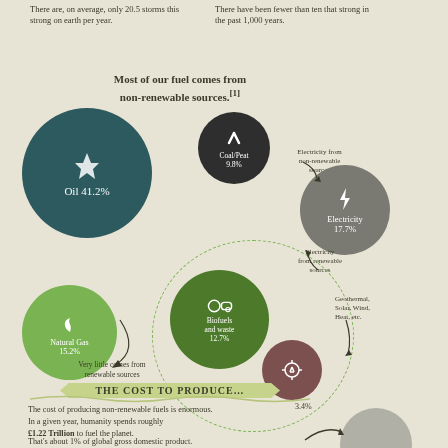There are, on average, only 20.5 storms this strong on earth per year.
There have been fewer than ten that strong in the past 1,000 years.
Most of our fuel comes from non-renewable sources.[1]
[Figure (infographic): Large teal circle with oil derrick icon labeled 'Oil 41.2%']
[Figure (infographic): Medium dark circle with pickaxe icon labeled 'Coal/Peat 9.8%']
Electricity from non-renewable sources
[Figure (infographic): Grey circle with lightning bolt icon labeled 'Electricity 17.7%']
Electricity from renewable sources
[Figure (infographic): Light green circle with flame icon labeled 'Natural Gas 15.2%']
[Figure (infographic): Dark green circle inside dashed ring with biofuels icon labeled 'Biofuels and waste 12.7%']
Geothermal, Solar, Wind, Heat, etc.
[Figure (infographic): Brown circle with wind turbine icon, labeled 3.4%]
3.4%
Very little comes from renewable sources
THE COST TO PRODUCE…
The cost of producing non-renewable fuels is enormous. In a given year, humanity spends roughly £1.22 Trillion to fuel the planet.
That's about 1% of global gross domestic product.